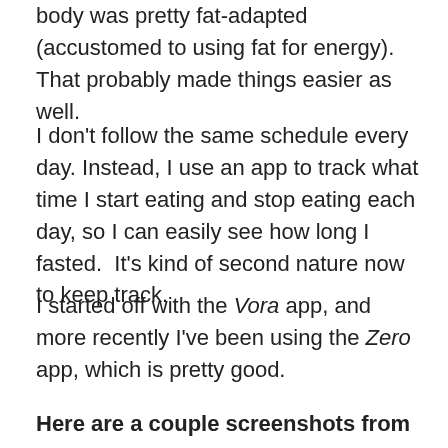body was pretty fat-adapted (accustomed to using fat for energy). That probably made things easier as well.
I don't follow the same schedule every day. Instead, I use an app to track what time I start eating and stop eating each day, so I can easily see how long I fasted. It's kind of second nature now to keep track.
I started off with the Vora app, and more recently I've been using the Zero app, which is pretty good.
Here are a couple screenshots from Zero: